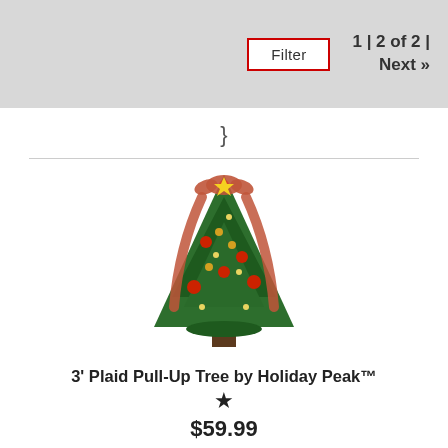Filter  1 | 2 of 2 | Next »
}
[Figure (photo): A decorated 3-foot plaid pull-up Christmas tree with red bows, ornaments, and warm lights on a white background.]
3' Plaid Pull-Up Tree by Holiday Peak™
★
$59.99